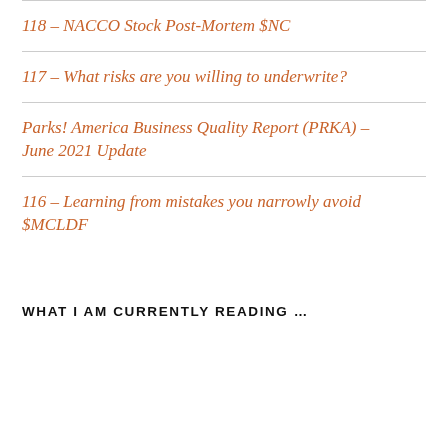118 – NACCO Stock Post-Mortem $NC
117 – What risks are you willing to underwrite?
Parks! America Business Quality Report (PRKA) – June 2021 Update
116 – Learning from mistakes you narrowly avoid $MCLDF
WHAT I AM CURRENTLY READING …